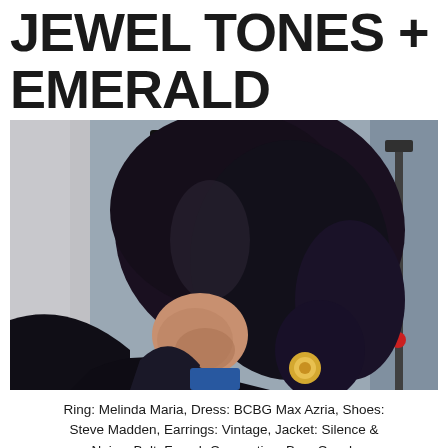JEWEL TONES + EMERALD STONES
[Figure (photo): A woman with long dark wavy hair looking down, wearing a black leather jacket and blue dress, with a gold ring accessory, photographed on a city street with a store sign visible in the background.]
Ring: Melinda Maria, Dress: BCBG Max Azria, Shoes: Steve Madden, Earrings: Vintage, Jacket: Silence & Noise, Belt: French Connection, Bag: Coach